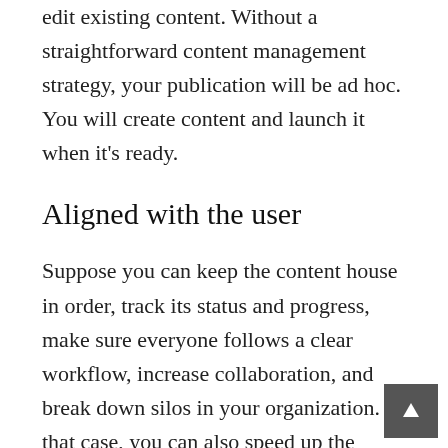edit existing content. Without a straightforward content management strategy, your publication will be ad hoc. You will create content and launch it when it's ready.
Aligned with the user
Suppose you can keep the content house in order, track its status and progress, make sure everyone follows a clear workflow, increase collaboration, and break down silos in your organization. In that case, you can also speed up the process and deliver just one thing. The content will meet the needs of the user.